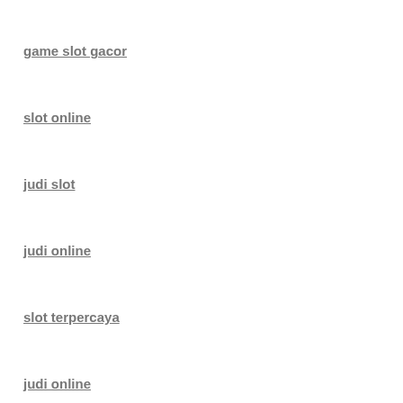game slot gacor
slot online
judi slot
judi online
slot terpercaya
judi online